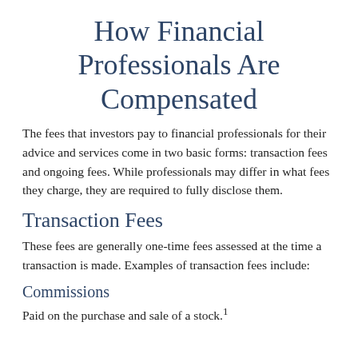How Financial Professionals Are Compensated
The fees that investors pay to financial professionals for their advice and services come in two basic forms: transaction fees and ongoing fees. While professionals may differ in what fees they charge, they are required to fully disclose them.
Transaction Fees
These fees are generally one-time fees assessed at the time a transaction is made. Examples of transaction fees include:
Commissions
Paid on the purchase and sale of a stock.¹